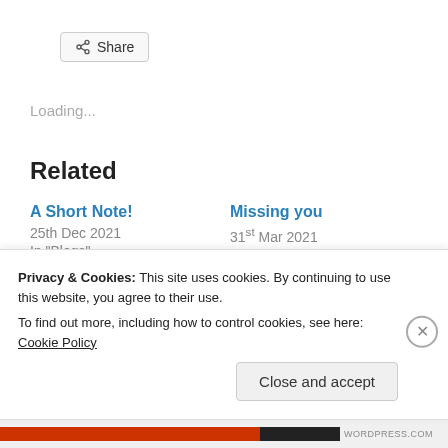[Figure (other): Share button with share icon]
Loading...
Related
A Short Note!
25th Dec 2021
In "Blogs"
Missing you
31st Mar 2021
In "Blogs"
Privacy & Cookies: This site uses cookies. By continuing to use this website, you agree to their use.
To find out more, including how to control cookies, see here: Cookie Policy
Close and accept